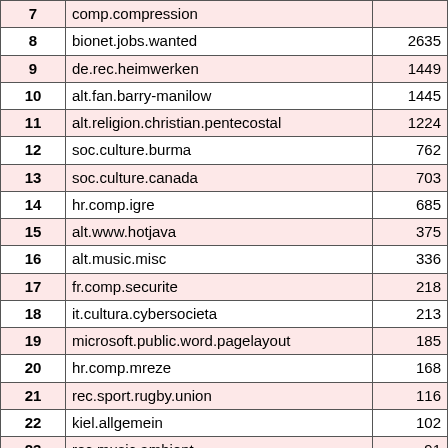| # | Newsgroup | Count |
| --- | --- | --- |
| 7 | comp.compression |  |
| 8 | bionet.jobs.wanted | 2635 |
| 9 | de.rec.heimwerken | 1449 |
| 10 | alt.fan.barry-manilow | 1445 |
| 11 | alt.religion.christian.pentecostal | 1224 |
| 12 | soc.culture.burma | 762 |
| 13 | soc.culture.canada | 703 |
| 14 | hr.comp.igre | 685 |
| 15 | alt.www.hotjava | 375 |
| 16 | alt.music.misc | 336 |
| 17 | fr.comp.securite | 218 |
| 18 | it.cultura.cybersocieta | 213 |
| 19 | microsoft.public.word.pagelayout | 185 |
| 20 | hr.comp.mreze | 168 |
| 21 | rec.sport.rugby.union | 116 |
| 22 | kiel.allgemein | 102 |
| 23 | rec.music.ambient | 91 |
| 24 | comp.infosystems.www.servers.ms-windows | 82 |
| 25 | alt.surfing | 75 |